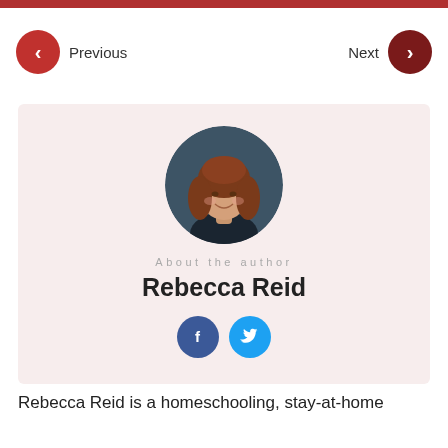Previous
Next
[Figure (photo): Circular portrait photo of Rebecca Reid, a woman with reddish-brown shoulder-length hair, smiling, against a dark background]
About the author
Rebecca Reid
[Figure (infographic): Facebook and Twitter social media icon buttons]
Rebecca Reid is a homeschooling, stay-at-home